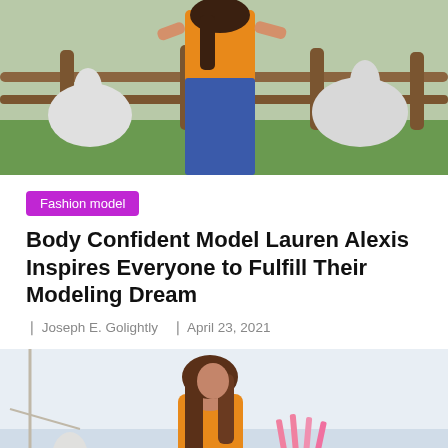[Figure (photo): Photo of a woman in an orange top and blue jeans standing near a wooden fence with white animals (likely alpacas or llamas) in the background on a farm]
Fashion model
Body Confident Model Lauren Alexis Inspires Everyone to Fulfill Their Modeling Dream
Joseph E. Golightly   April 23, 2021
[Figure (photo): Photo of a young woman with long brown hair in an orange outfit, looking back over her shoulder, outdoors with a light sky background]